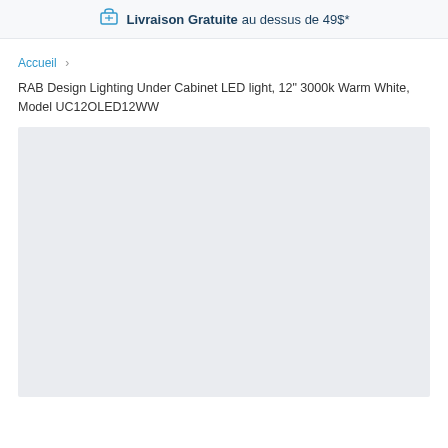Livraison Gratuite au dessus de 49$*
Accueil > RAB Design Lighting Under Cabinet LED light, 12" 3000k Warm White, Model UC12OLED12WW
[Figure (other): Light blue/grey empty product image placeholder area]